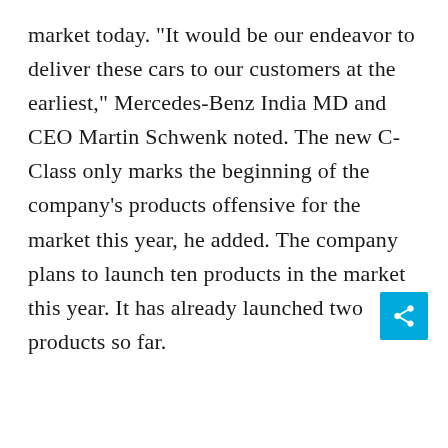market today. "It would be our endeavor to deliver these cars to our customers at the earliest," Mercedes-Benz India MD and CEO Martin Schwenk noted. The new C-Class only marks the beginning of the company's products offensive for the market this year, he added. The company plans to launch ten products in the market this year. It has already launched two products so far.
[Figure (other): Share button icon (light blue square with white share/arrow symbol)]